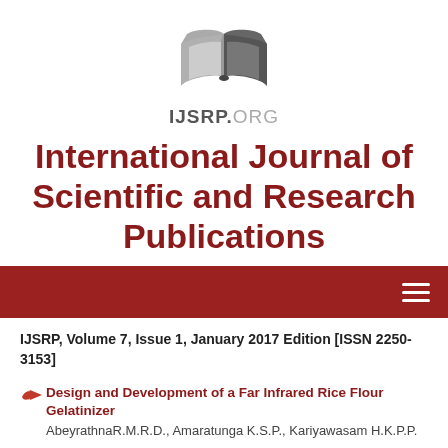[Figure (logo): IJSRP.ORG open book logo with text IJSRP.ORG below]
International Journal of Scientific and Research Publications
IJSRP, Volume 7, Issue 1, January 2017 Edition [ISSN 2250-3153]
Design and Development of a Far Infrared Rice Flour Gelatinizer
AbeyrathnaR.M.R.D., Amaratunga K.S.P., Kariyawasam H.K.P.P.